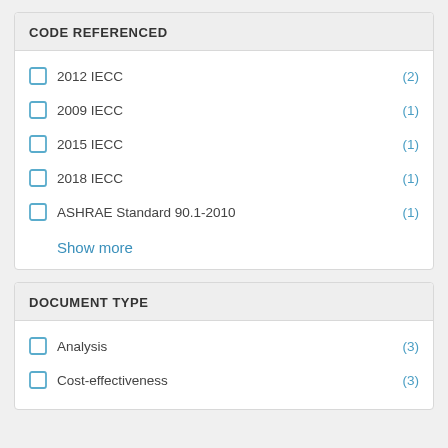CODE REFERENCED
2012 IECC (2)
2009 IECC (1)
2015 IECC (1)
2018 IECC (1)
ASHRAE Standard 90.1-2010 (1)
Show more
DOCUMENT TYPE
Analysis (3)
Cost-effectiveness (3)